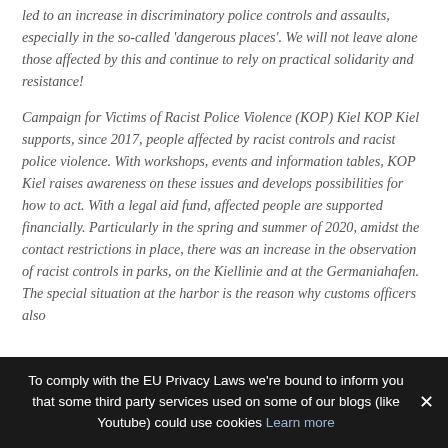led to an increase in discriminatory police controls and assaults, especially in the so-called 'dangerous places'. We will not leave alone those affected by this and continue to rely on practical solidarity and resistance!
Campaign for Victims of Racist Police Violence (KOP) Kiel KOP Kiel supports, since 2017, people affected by racist controls and racist police violence. With workshops, events and information tables, KOP Kiel raises awareness on these issues and develops possibilities for how to act. With a legal aid fund, affected people are supported financially. Particularly in the spring and summer of 2020, amidst the contact restrictions in place, there was an increase in the observation of racist controls in parks, on the Kiellinie and at the Germaniahafen. The special situation at the harbor is the reason why customs officers also
To comply with the EU Privacy Laws we're bound to inform you that some third party services used on some of our blogs (like Youtube) could use cookies Learn more